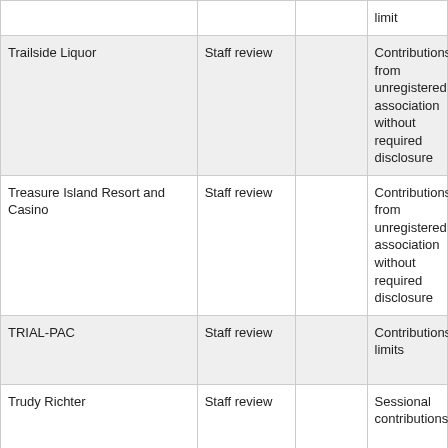|  |  |  |  |
| --- | --- | --- | --- |
|  |  |  | limit |
| Trailside Liquor | Staff review |  | Contributions from unregistered association without required disclosure |
| Treasure Island Resort and Casino | Staff review |  | Contributions from unregistered association without required disclosure |
| TRIAL-PAC | Staff review |  | Contributions limits |
| Trudy Richter | Staff review |  | Sessional contributions |
| United Food and Commercial Workers International Union Active Ballot Club | Staff review |  | Contributions from unregistered association with... |